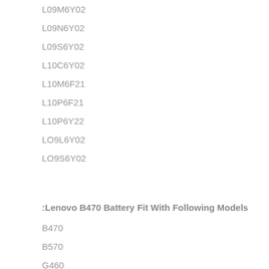L09M6Y02
L09N6Y02
L09S6Y02
L10C6Y02
L10M6F21
L10P6F21
L10P6Y22
LO9L6Y02
LO9S6Y02
:Lenovo B470 Battery Fit With Following Models
B470
B570
G460
G460A